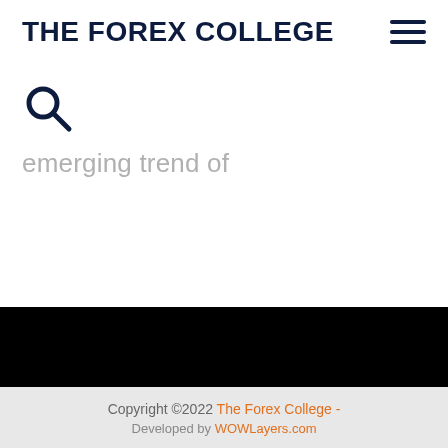THE FOREX COLLEGE
[Figure (other): Search icon (magnifying glass) in dark navy color]
emerging trend of
[Figure (other): Black footer bar / banner area]
Copyright ©2022 The Forex College - Developed by WOWLayers.com